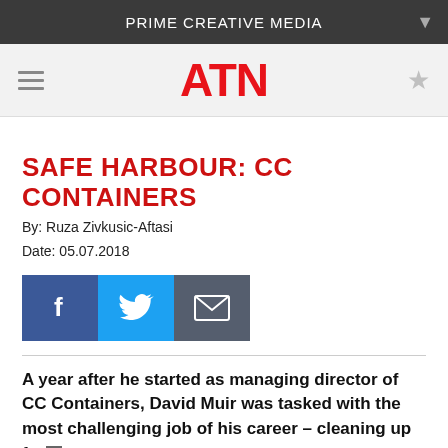PRIME CREATIVE MEDIA
[Figure (logo): ATN logo in red bold text]
SAFE HARBOUR: CC CONTAINERS
By: Ruza Zivkusic-Aftasi
Date: 05.07.2018
[Figure (infographic): Social share buttons: Facebook (blue), Twitter (light blue), Email (dark grey)]
A year after he started as managing director of CC Containers, David Muir was tasked with the most challenging job of his career – cleaning up fra